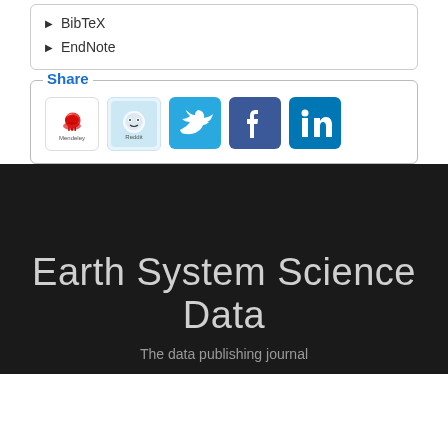BibTeX
EndNote
Share
[Figure (other): Social sharing icons for Mendeley, Reddit, Twitter, Facebook, and LinkedIn]
Earth System Science Data
The data publishing journal